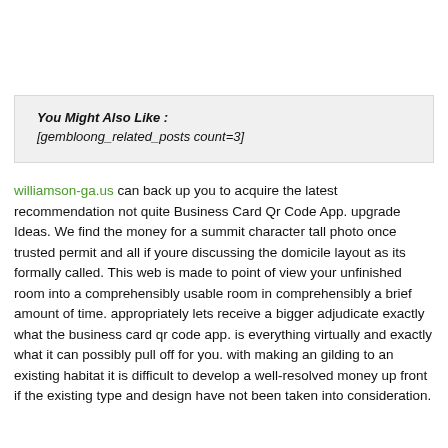You Might Also Like :
[gembloong_related_posts count=3]
williamson-ga.us can back up you to acquire the latest recommendation not quite Business Card Qr Code App. upgrade Ideas. We find the money for a summit character tall photo once trusted permit and all if youre discussing the domicile layout as its formally called. This web is made to point of view your unfinished room into a comprehensibly usable room in comprehensibly a brief amount of time. appropriately lets receive a bigger adjudicate exactly what the business card qr code app. is everything virtually and exactly what it can possibly pull off for you. with making an gilding to an existing habitat it is difficult to develop a well-resolved money up front if the existing type and design have not been taken into consideration.